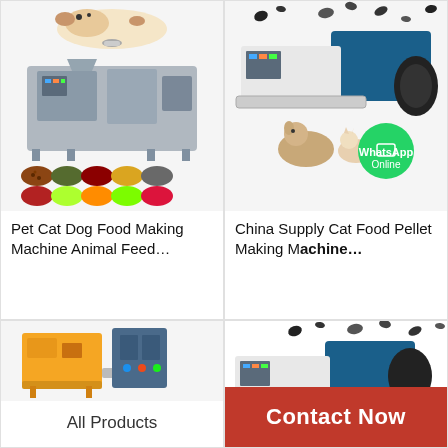[Figure (photo): Pet Cat Dog Food Making Machine Animal Feed industrial machinery with dog and bowls of pet food shown above]
Pet Cat Dog Food Making Machine Animal Feed…
[Figure (photo): China Supply Cat Food Pellet Making Machine with WhatsApp Online overlay, machinery with cat and dog images and food pellets]
China Supply Cat Food Pellet Making Machine…
[Figure (photo): Yellow and blue pet food making machine partial view]
All Products
[Figure (photo): Blue pet food pellet making machine with scattered pellets above]
Contact Now